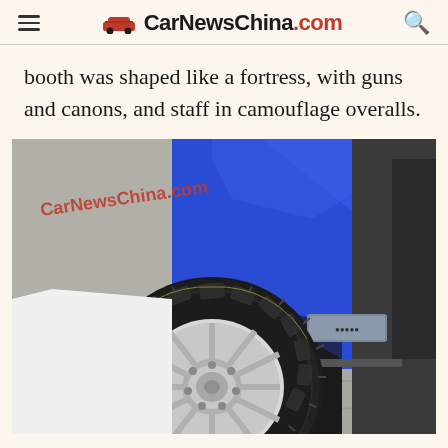CarNewsChina.com
booth was shaped like a fortress, with guns and canons, and staff in camouflage overalls.
[Figure (photo): Close-up photo of a blue off-road vehicle showing the rear wheel area with large black off-road tire on a silver multi-spoke rim, with the blue body panel and a nameplate badge visible. A CarNewsChina.com watermark appears in red in the upper left corner of the photo.]